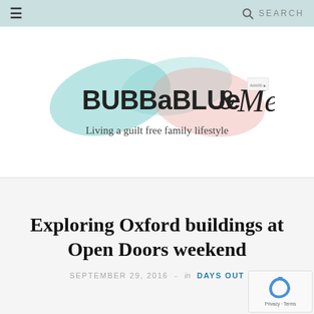≡   🔍 SEARCH
[Figure (logo): BUBBaBLUe & Me blog logo with paint brush strokes in teal and pink. Tagline: Living a guilt free family lifestyle]
Exploring Oxford buildings at Open Doors weekend
SEPTEMBER 29, 2016 - in DAYS OUT